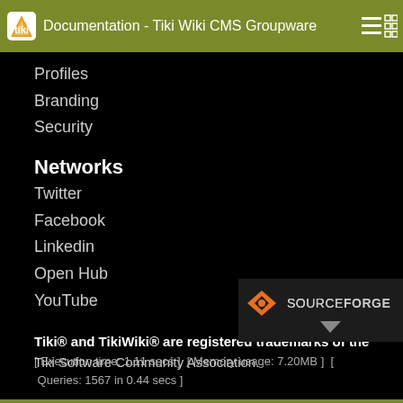Documentation - Tiki Wiki CMS Groupware
Profiles
Branding
Security
Networks
Twitter
Facebook
Linkedin
Open Hub
YouTube
Tiki® and TikiWiki® are registered trademarks of the Tiki Software Community Association.
[Figure (logo): SourceForge logo with orange diamond icon and SOURCEFORGE text in dark background]
[ Execution time: 1.11 secs ]  [ Memory usage: 7.20MB ]  [ Queries: 1567 in 0.44 secs ]